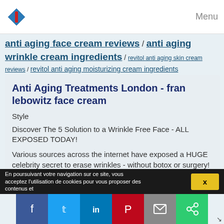Menu
anti aging face cream reviews / anti aging wrinkle cream ingredients / revitol anti aging skin cream reviews / revitol anti aging moisturizing cream ingredients
Anti Aging Treatments London - fran lebowitz face cream
Style
Discover The 5 Solution to a Wrinkle Free Face - ALL EXPOSED TODAY!
Various sources across the internet have exposed a HUGE celebrity secret to erase wrinkles - without botox or surgery!
How do Hollywood starlets look so radiant and youthful well into thier 40's, 50's, and even 60's? Is it always expensive botox and dangerous plastic surgery? According to various sources, the answer is...
Read more
En poursuivant votre navigation sur ce site, vous acceptez l'utilisation de cookies pour vous proposer des contenus et
X